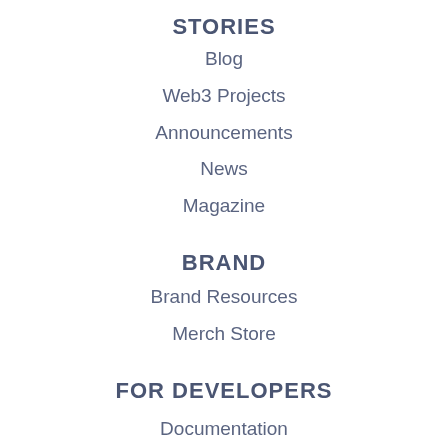STORIES
Blog
Web3 Projects
Announcements
News
Magazine
BRAND
Brand Resources
Merch Store
FOR DEVELOPERS
Documentation
Join Discord